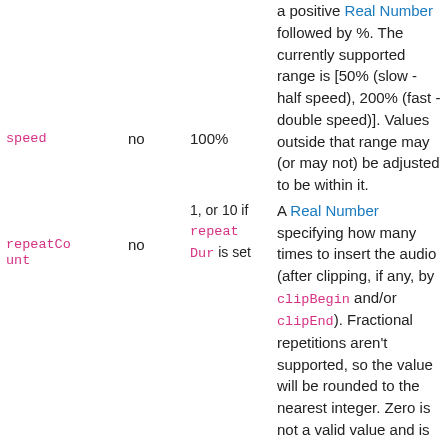| Name | Required | Default | Description |
| --- | --- | --- | --- |
| speed | no | 100% | a positive Real Number followed by %. The currently supported range is [50% (slow - half speed), 200% (fast - double speed)]. Values outside that range may (or may not) be adjusted to be within it. |
| repeatCount | no | 1, or 10 if repeatDur is set | A Real Number specifying how many times to insert the audio (after clipping, if any, by clipBegin and/or clipEnd). Fractional repetitions aren't supported, so the value will be rounded to the nearest integer. Zero is not a valid value and is |